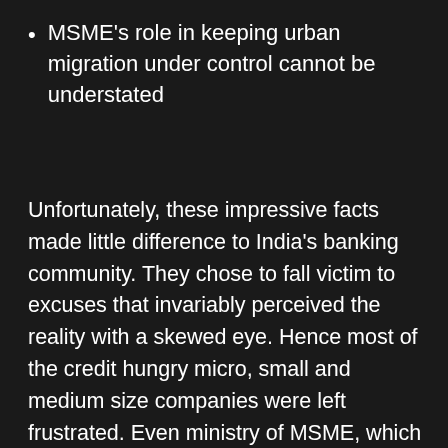MSME's role in keeping urban migration under control cannot be understated
Unfortunately, these impressive facts made little difference to India's banking community. They chose to fall victim to excuses that invariably perceived the reality with a skewed eye. Hence most of the credit hungry micro, small and medium size companies were left frustrated. Even ministry of MSME, which was created by the Govt of India in 1999 to stimulate the sector, could not solve the credit conundrum. Most of the MSME's credit schemes got lost into the infamous red tape and paperwork that marks the failure most of the government schemes.